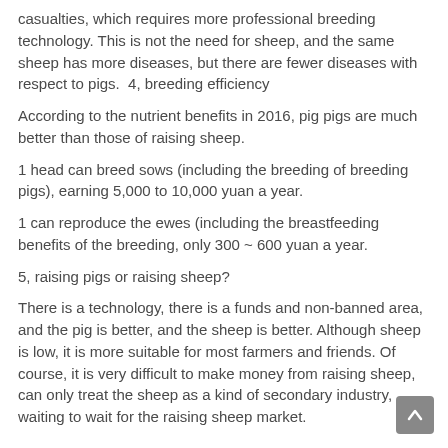casualties, which requires more professional breeding technology. This is not the need for sheep, and the same sheep has more diseases, but there are fewer diseases with respect to pigs.  4, breeding efficiency
According to the nutrient benefits in 2016, pig pigs are much better than those of raising sheep.
1 head can breed sows (including the breeding of breeding pigs), earning 5,000 to 10,000 yuan a year.
1 can reproduce the ewes (including the breastfeeding benefits of the breeding, only 300 ~ 600 yuan a year.
5, raising pigs or raising sheep?
There is a technology, there is a funds and non-banned area, and the pig is better, and the sheep is better. Although sheep is low, it is more suitable for most farmers and friends. Of course, it is very difficult to make money from raising sheep, can only treat the sheep as a kind of secondary industry, waiting to wait for the raising sheep market.